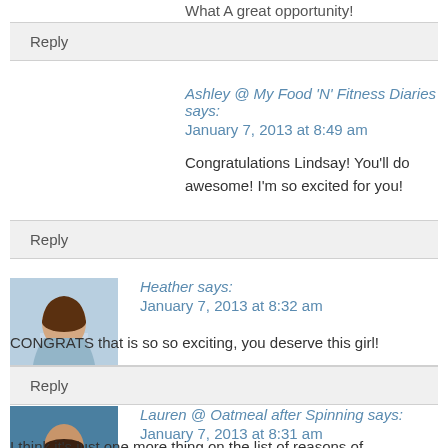What A great opportunity!
Reply
Ashley @ My Food 'N' Fitness Diaries says:
January 7, 2013 at 8:49 am
Congratulations Lindsay! You'll do awesome! I'm so excited for you!
Reply
[Figure (photo): Avatar photo of Heather, a woman with long hair]
Heather says:
January 7, 2013 at 8:32 am
CONGRATS that is so so exciting, you deserve this girl!
Reply
[Figure (photo): Avatar photo of Lauren, a woman in blue top]
Lauren @ Oatmeal after Spinning says:
January 7, 2013 at 8:31 am
I think it's just one more thing on the list of reasons of